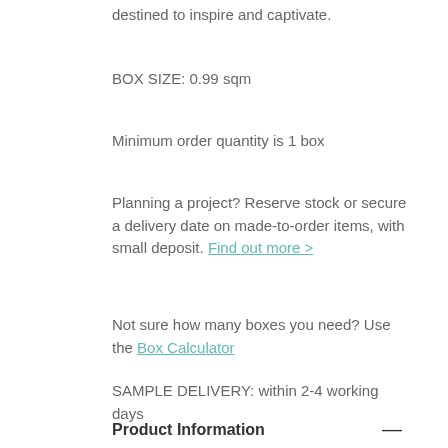destined to inspire and captivate.
BOX SIZE: 0.99 sqm
Minimum order quantity is 1 box
Planning a project? Reserve stock or secure a delivery date on made-to-order items, with small deposit. Find out more >
Not sure how many boxes you need? Use the Box Calculator
SAMPLE DELIVERY: within 2-4 working days
Product Information